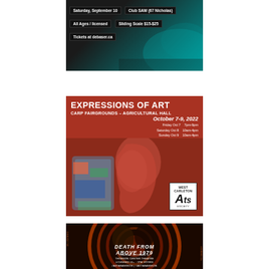[Figure (illustration): Event poster for a concert at Club SAW (67 Nicholas), Saturday September 10. All Ages/Licensed, Sliding Scale $15-$25. Tickets at debaser.ca. Dark background with teal/green abstract design.]
[Figure (illustration): Expressions of Art event poster. Carp Fairgrounds - Agricultural Hall, October 7-9, 2022. Friday Oct 7: 7pm-9pm, Saturday Oct 8: 10am-4pm, Sunday Oct 9: 10am-4pm. Red background with artistic face/collage image. West Carleton Arts Society logo.]
[Figure (illustration): Death From Above 1979 concert poster. Tuesday October 11. Thomson Center Theatre. Licensed 19+, 7PM Doors. #AKTABANGKOK | #AKTABANGKOK. Orange/brown concentric circle design with band photo.]